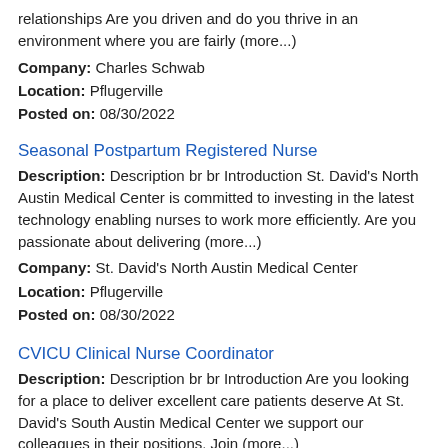relationships Are you driven and do you thrive in an environment where you are fairly (more...)
Company: Charles Schwab
Location: Pflugerville
Posted on: 08/30/2022
Seasonal Postpartum Registered Nurse
Description: Description br br Introduction St. David's North Austin Medical Center is committed to investing in the latest technology enabling nurses to work more efficiently. Are you passionate about delivering (more...)
Company: St. David's North Austin Medical Center
Location: Pflugerville
Posted on: 08/30/2022
CVICU Clinical Nurse Coordinator
Description: Description br br Introduction Are you looking for a place to deliver excellent care patients deserve At St. David's South Austin Medical Center we support our colleagues in their positions. Join (more...)
Company: St. David's South Austin Medical Center
Location: Pflugerville
Posted on: 08/30/2022